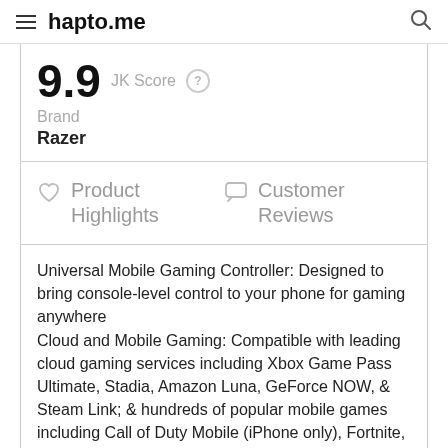hapto.me
9.9  JK Score ?
Brand
Razer
Product Highlights   Customer Reviews
Universal Mobile Gaming Controller: Designed to bring console-level control to your phone for gaming anywhere
Cloud and Mobile Gaming: Compatible with leading cloud gaming services including Xbox Game Pass Ultimate, Stadia, Amazon Luna, GeForce NOW, & Steam Link; & hundreds of popular mobile games including Call of Duty Mobile (iPhone only), Fortnite, Minecraft, Genshin Impact, Brawlhalla, Asphalt 9: Legends, emulators, & many more more